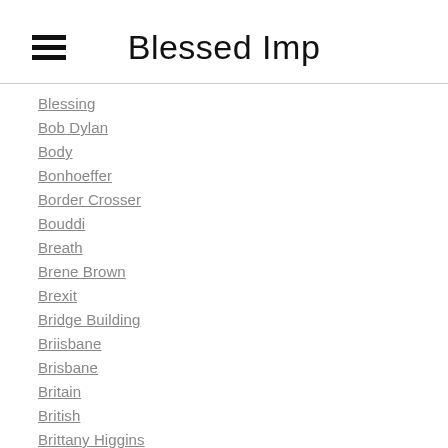Blessed Imp
Blessing
Bob Dylan
Body
Bonhoeffer
Border Crosser
Bouddi
Breath
Brene Brown
Brexit
Bridge Building
Briisbane
Brisbane
Britain
British
Brittany Higgins
Brixton
Bruce Boase
Buddhist